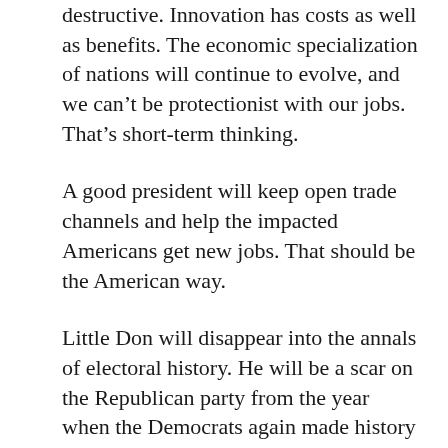destructive. Innovation has costs as well as benefits. The economic specialization of nations will continue to evolve, and we can't be protectionist with our jobs. That's short-term thinking.
A good president will keep open trade channels and help the impacted Americans get new jobs. That should be the American way.
Little Don will disappear into the annals of electoral history. He will be a scar on the Republican party from the year when the Democrats again made history by nominating the first woman president.